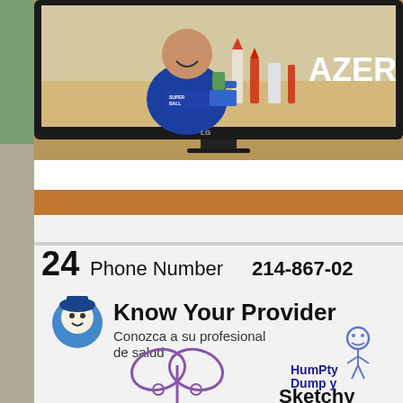[Figure (photo): A child in a blue shirt sits in front of an LG computer monitor displaying a science project with rockets and structures on a table. The monitor shows the text 'AZER' in large white letters.]
[Figure (photo): A whiteboard-style document or pamphlet cropped to show: '24 Phone Number 214-867-02...' at top, then a 'Know Your Provider / Conozca a su profesional de salud' section with a mascot logo, a child's sketch of a figure, and handwritten text 'Humpty Dumpy...' and 'Sketchy'.]